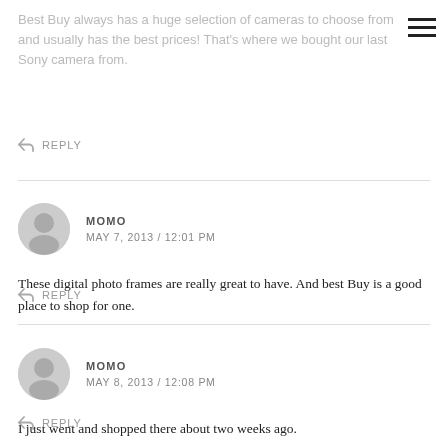Best Buy always has a huge selection of cameras to choose from and usually has the best prices! That's where we bought our last Sony camera from.
REPLY
MOMO
MAY 7, 2013 / 12:01 PM
These digital photo frames are really great to have. And best Buy is a good place to shop for one.
REPLY
MOMO
MAY 8, 2013 / 12:08 PM
I just went and shopped there about two weeks ago.
REPLY